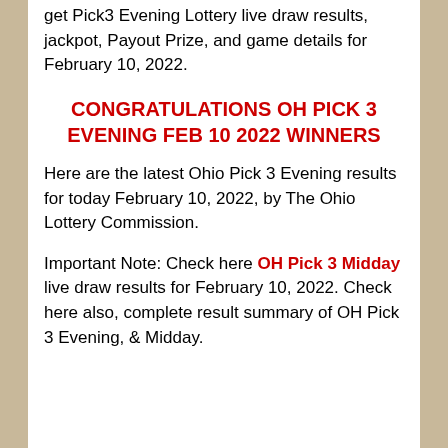get Pick3 Evening Lottery live draw results, jackpot, Payout Prize, and game details for February 10, 2022.
CONGRATULATIONS OH PICK 3 EVENING FEB 10 2022 WINNERS
Here are the latest Ohio Pick 3 Evening results for today February 10, 2022, by The Ohio Lottery Commission.
Important Note: Check here OH Pick 3 Midday live draw results for February 10, 2022. Check here also, complete result summary of OH Pick 3 Evening, & Midday.